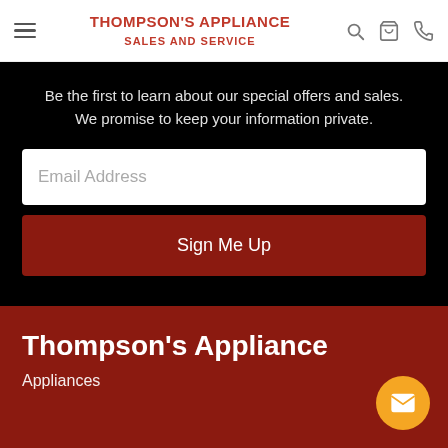Thompson's Appliance Sales and Service
Be the first to learn about our special offers and sales. We promise to keep your information private.
Email Address
Sign Me Up
Thompson's Appliance
Appliances